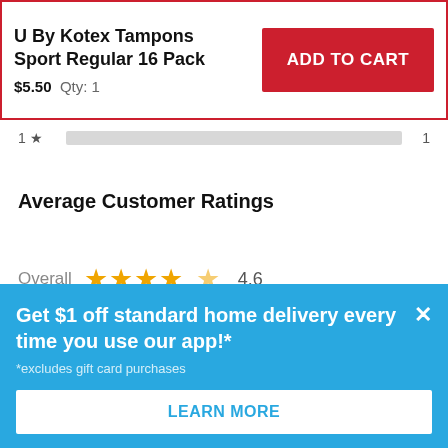U By Kotex Tampons Sport Regular 16 Pack
$5.50  Qty: 1
ADD TO CART
1 ★  1
Average Customer Ratings
Overall ★★★★☆ 4.6
1–4 of 91 Reviews
Get $1 off standard home delivery every time you use our app!*
*excludes gift card purchases
LEARN MORE